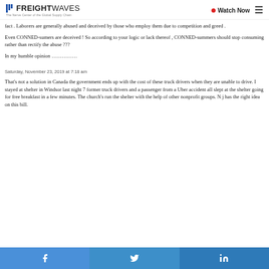FREIGHTWAVES — The Nerve Center of the Global Supply Chain | Watch Now
fact . Laborers are generally abused and deceived by those who employ them due to competition and greed .
Even CONNED-sumers are deceived ! So according to your logic or lack thereof , CONNED-summers should stop consuming rather than rectify the abuse ???
In my humble opinion ……………
Saturday, November 23, 2019 at 7:18 am
That's not a solution in Canada the government ends up with the cost of these truck drivers when they are unable to drive. I stayed at shelter in Windsor last night 7 former truck drivers and a passenger from a Uber accident all slept at the shelter going for free breakfast in a few minutes. The church's run the shelter with the help of other nonprofit groups. N j has the right idea on this bill.
[Figure (other): Social share bar with Facebook, Twitter, and LinkedIn buttons]